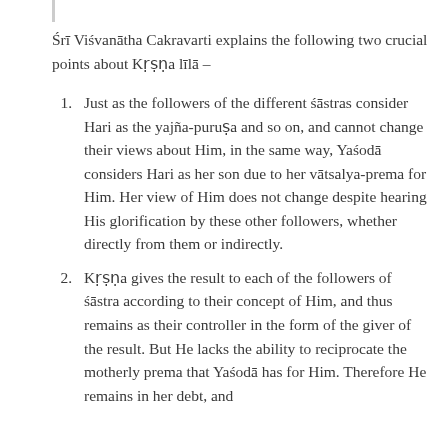Śrī Viśvanātha Cakravarti explains the following two crucial points about Kṛṣṇa līlā –
Just as the followers of the different śāstras consider Hari as the yajña-puruṣa and so on, and cannot change their views about Him, in the same way, Yaśodā considers Hari as her son due to her vātsalya-prema for Him. Her view of Him does not change despite hearing His glorification by these other followers, whether directly from them or indirectly.
Kṛṣṇa gives the result to each of the followers of śāstra according to their concept of Him, and thus remains as their controller in the form of the giver of the result. But He lacks the ability to reciprocate the motherly prema that Yaśodā has for Him. Therefore He remains in her debt, and